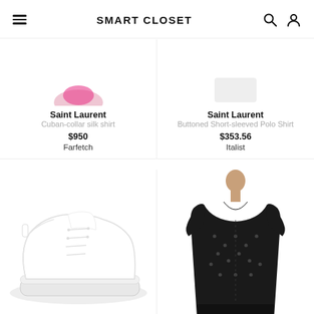SMART CLOSET
[Figure (screenshot): App screenshot showing a shopping page with header 'SMART CLOSET', hamburger menu icon, search icon, and user icon. Two product listings at top (Saint Laurent Cuban-collar silk shirt $950 Farfetch; Saint Laurent Buttoned Short-sleeved Polo Shirt $353.56 Italist) and two product images at bottom (white sneaker, black patterned short-sleeve shirt on model).]
Saint Laurent
Cuban-collar silk shirt
$950
Farfetch
Saint Laurent
Buttoned Short-sleeved Polo Shirt
$353.56
Italist